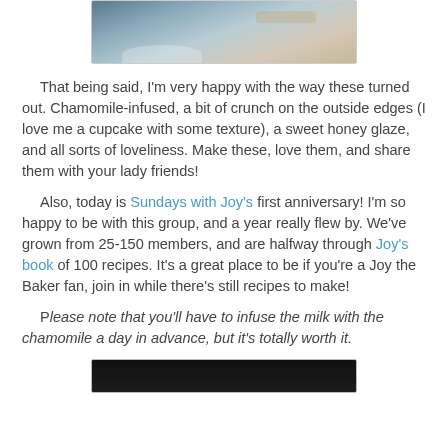[Figure (photo): Close-up photo of decorative china dishes or teacups with floral pattern, partially cropped at top of page]
That being said, I'm very happy with the way these turned out.  Chamomile-infused, a bit of crunch on the outside edges (I love me a cupcake with some texture), a sweet honey glaze, and all sorts of loveliness.  Make these, love them, and share them with your lady friends!
Also, today is Sundays with Joy's first anniversary!  I'm so happy to be with this group, and a year really flew by.  We've grown from 25-150 members, and are halfway through Joy's book of 100 recipes.  It's a great place to be if you're a Joy the Baker fan, join in while there's still recipes to make!
Please note that you'll have to infuse the milk with the chamomile a day in advance, but it's totally worth it.
[Figure (photo): Bottom portion of a dark/black photo, partially cropped at bottom of page]